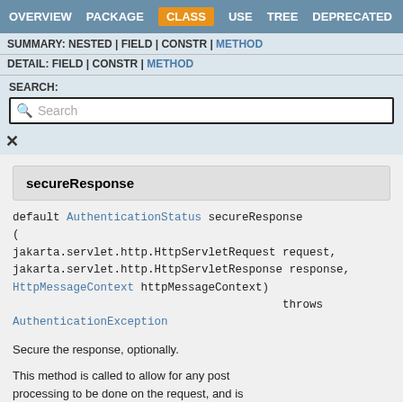OVERVIEW  PACKAGE  CLASS  USE  TREE  DEPRECATED
SUMMARY: NESTED | FIELD | CONSTR | METHOD
DETAIL: FIELD | CONSTR | METHOD
SEARCH:
secureResponse
default AuthenticationStatus secureResponse(
jakarta.servlet.http.HttpServletRequest request,
jakarta.servlet.http.HttpServletResponse response,
HttpMessageContext httpMessageContext)
                                        throws
AuthenticationException
Secure the response, optionally.
This method is called to allow for any post processing to be done on the request, and is